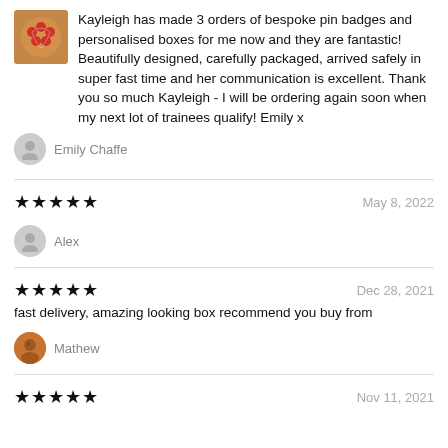Kayleigh has made 3 orders of bespoke pin badges and personalised boxes for me now and they are fantastic! Beautifully designed, carefully packaged, arrived safely in super fast time and her communication is excellent. Thank you so much Kayleigh - I will be ordering again soon when my next lot of trainees qualify! Emily x
Emily Chaffe
★★★★★   May 8, 2022
Alex
★★★★★   Dec 28, 2021
fast delivery, amazing looking box recommend you buy from
Mathew
★★★★★   Nov 11, 2021